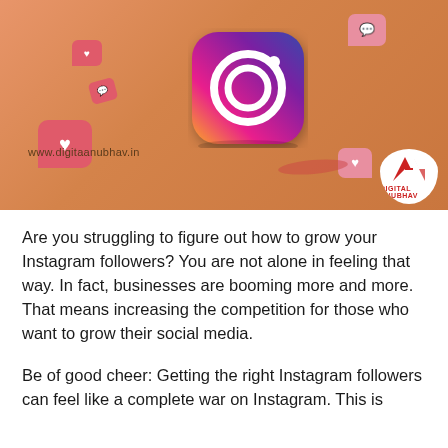[Figure (illustration): Instagram 3D logo icon on an orange background with floating heart and chat bubble icons, watermark text 'www.digitaanubhav.in' and a DA brand logo in the bottom right corner.]
Are you struggling to figure out how to grow your Instagram followers? You are not alone in feeling that way. In fact, businesses are booming more and more. That means increasing the competition for those who want to grow their social media.
Be of good cheer: Getting the right Instagram followers can feel like a complete war on Instagram. This is